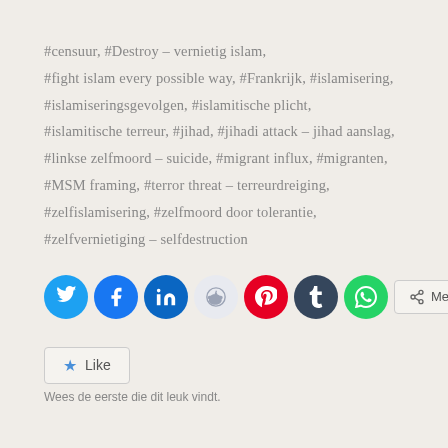#censuur, #Destroy – vernietig islam, #fight islam every possible way, #Frankrijk, #islamisering, #islamiseringsgevolgen, #islamitische plicht, #islamitische terreur, #jihad, #jihadi attack – jihad aanslag, #linkse zelfmoord – suicide, #migrant influx, #migranten, #MSM framing, #terror threat – terreurdreiging, #zelfislamisering, #zelfmoord door tolerantie, #zelfvernietiging – selfdestruction
[Figure (other): Social sharing buttons: Twitter, Facebook, LinkedIn, Reddit, Pinterest, Tumblr, WhatsApp, and a Meer (More) button]
Like
Wees de eerste die dit leuk vindt.